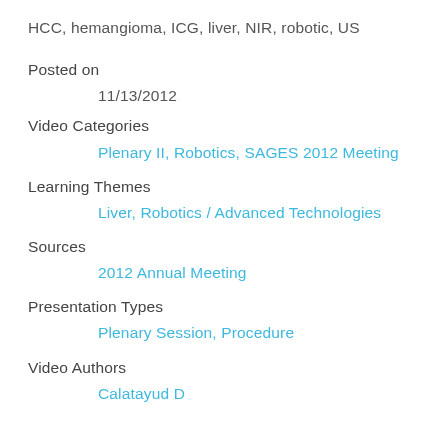HCC, hemangioma, ICG, liver, NIR, robotic, US
Posted on
11/13/2012
Video Categories
Plenary II, Robotics, SAGES 2012 Meeting
Learning Themes
Liver, Robotics / Advanced Technologies
Sources
2012 Annual Meeting
Presentation Types
Plenary Session, Procedure
Video Authors
Calatayud D